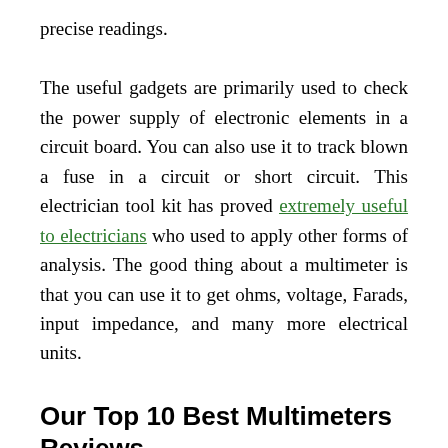precise readings.
The useful gadgets are primarily used to check the power supply of electronic elements in a circuit board. You can also use it to track blown a fuse in a circuit or short circuit. This electrician tool kit has proved extremely useful to electricians who used to apply other forms of analysis. The good thing about a multimeter is that you can use it to get ohms, voltage, Farads, input impedance, and many more electrical units.
Our Top 10 Best Multimeters Reviews